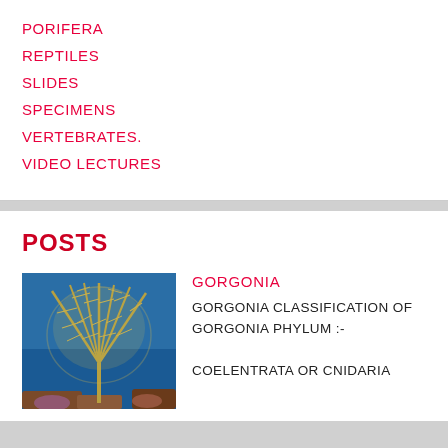PORIFERA
REPTILES
SLIDES
SPECIMENS
VERTEBRATES.
VIDEO LECTURES
POSTS
[Figure (photo): Underwater photo of a gorgonia (sea fan coral), fan-shaped yellowish-green coral against a blue ocean background with coral reef visible.]
GORGONIA
GORGONIA CLASSIFICATION OF GORGONIA PHYLUM :- COELENTRATA OR CNIDARIA